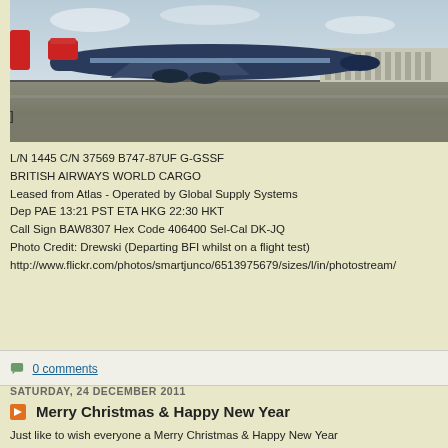[Figure (photo): Airplane (Boeing 747) on runway at airport, partially cropped, showing aircraft landing or taxiing with airport buildings in background]
L/N 1445 C/N 37569 B747-87UF G-GSSF
BRITISH AIRWAYS WORLD CARGO
Leased from Atlas - Operated by Global Supply Systems
Dep PAE 13:21 PST ETA HKG 22:30 HKT
Call Sign BAW8307 Hex Code 406400 Sel-Cal DK-JQ
Photo Credit: Drewski (Departing BFI whilst on a flight test)
http://www.flickr.com/photos/smartjunco/6513975679/sizes/l/in/photostream/
0 comments
SATURDAY, 24 DECEMBER 2011
Merry Christmas & Happy New Year
Just like to wish everyone a Merry Christmas & Happy New Year
We would also like to thank everyone for their contributions in